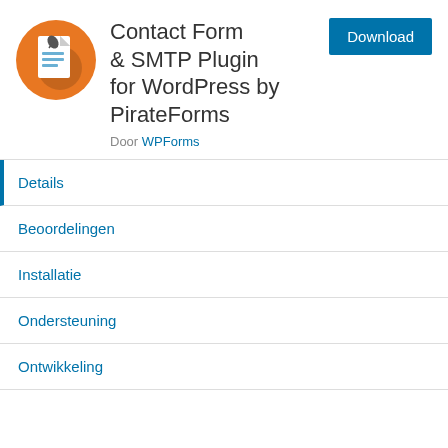[Figure (logo): Orange circle with a document/form icon (white paper with dark leaf/pen and blue lines) representing PirateForms plugin logo]
Contact Form & SMTP Plugin for WordPress by PirateForms
Door WPForms
Details
Beoordelingen
Installatie
Ondersteuning
Ontwikkeling